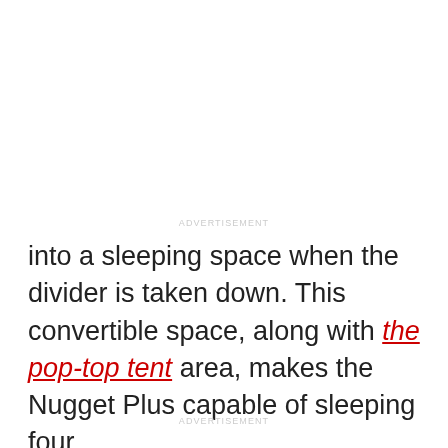ADVERTISEMENT
into a sleeping space when the divider is taken down. This convertible space, along with the pop-top tent area, makes the Nugget Plus capable of sleeping four.
ADVERTISEMENT